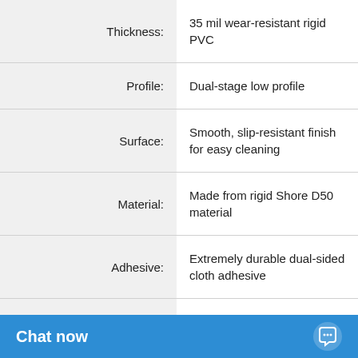| Property | Value |
| --- | --- |
| Thickness: | 35 mil wear-resistant rigid PVC |
| Profile: | Dual-stage low profile |
| Surface: | Smooth, slip-resistant finish for easy cleaning |
| Material: | Made from rigid Shore D50 material |
| Adhesive: | Extremely durable dual-sided cloth adhesive |
| Adhesive Color: | White |
| Liner Color: | Blue |